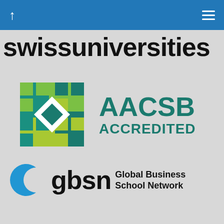Navigation bar with up arrow and menu icon
swissuniversities
[Figure (logo): AACSB Accredited logo — a square geometric icon with teal and green quadrants arranged in a pinwheel pattern, next to bold teal text reading 'AACSB ACCREDITED']
[Figure (logo): GBSN Global Business School Network logo — a blue crescent moon-like arc symbol next to bold black text 'gbsn' and smaller text 'Global Business School Network']